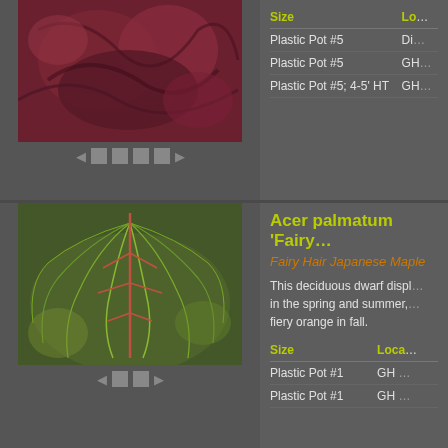[Figure (photo): Close-up photo of dark red/purple plant foliage]
| Size | Lo... |
| --- | --- |
| Plastic Pot #5 | Di... |
| Plastic Pot #5 | GH... |
| Plastic Pot #5; 4-5' HT | GH... |
Acer palmatum 'Fairy...
Fairy Hair Japanese Maple
[Figure (photo): Photo of Acer palmatum Fairy Hair Japanese Maple with thin wispy green foliage]
This deciduous dwarf displ... in the spring and summer, ... fiery orange in fall.
| Size | Loca... |
| --- | --- |
| Plastic Pot #1 | GH ... |
| Plastic Pot #1 | GH ... |